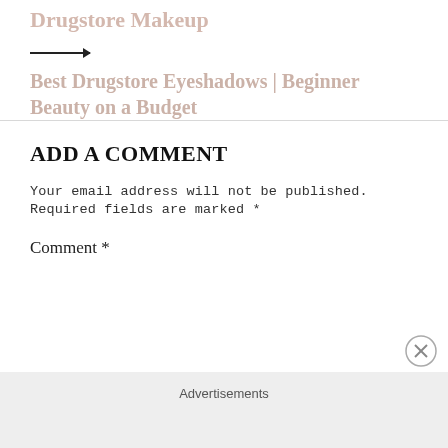Drugstore Makeup
[Figure (other): Right-pointing arrow line]
Best Drugstore Eyeshadows | Beginner Beauty on a Budget
ADD A COMMENT
Your email address will not be published. Required fields are marked *
Comment *
Advertisements